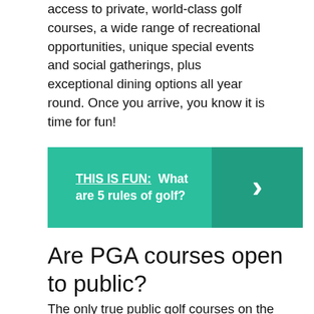access to private, world-class golf courses, a wide range of recreational opportunities, unique special events and social gatherings, plus exceptional dining options all year round. Once you arrive, you know it is time for fun!
THIS IS FUN: What are 5 rules of golf?
Are PGA courses open to public?
The only true public golf courses on the PGA Tour are the Torrey Pines Golf Courses, which host the annual Farmers Insurance Open near San Diego, Calif.; TPC Deere Run, home